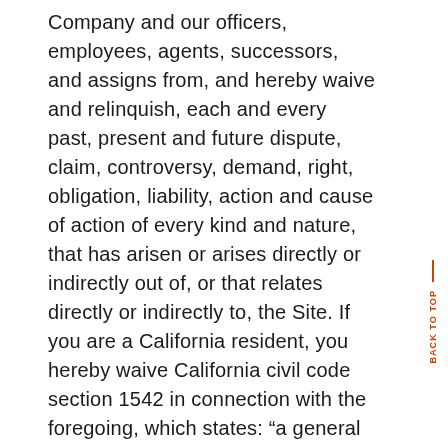Company and our officers, employees, agents, successors, and assigns from, and hereby waive and relinquish, each and every past, present and future dispute, claim, controversy, demand, right, obligation, liability, action and cause of action of every kind and nature, that has arisen or arises directly or indirectly out of, or that relates directly or indirectly to, the Site. If you are a California resident, you hereby waive California civil code section 1542 in connection with the foregoing, which states: “a general release does not extend to claims which the creditor does not know or suspect to exist in his or her favor at the time of executing the release, which if known by him or her must have materially affected his or her settlement with the debtor.”